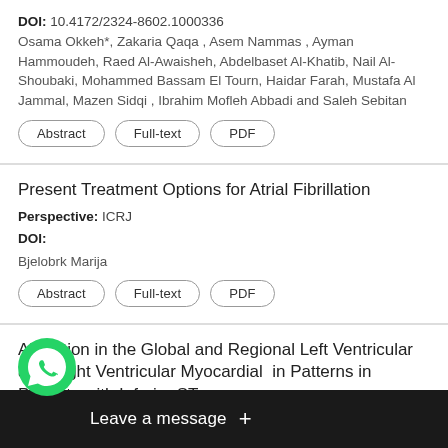DOI: 10.4172/2324-8602.1000336
Osama Okkeh*, Zakaria Qaqa , Asem Nammas , Ayman Hammoudeh, Raed Al-Awaisheh, Abdelbaset Al-Khatib, Nail Al-Shoubaki, Mohammed Bassam El Tourn, Haidar Farah, Mustafa Al Jammal, Mazen Sidqi , Ibrahim Mofleh Abbadi and Saleh Sebitan
Abstract
Full-text
PDF
Present Treatment Options for Atrial Fibrillation
Perspective: ICRJ
DOI:
Bjelobrk Marija
Abstract
Full-text
PDF
Alteration in the Global and Regional Left Ventricular and Right Ventricular Myocardial in Patterns in Patients with Inferior ST-tion Myocardial Infarction Early and Late arte Percutaneous Coronary Intervention
Rese